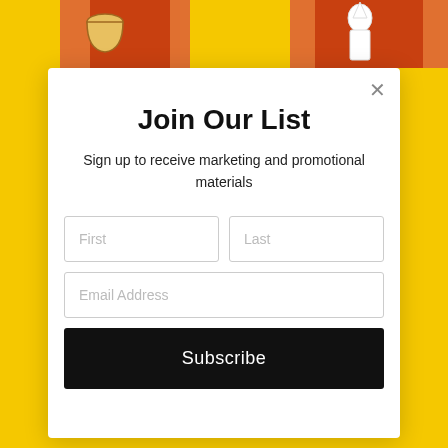[Figure (illustration): Top strip showing a yellow background with red curtains and decorative illustrations (cup on left, white figure on right)]
Join Our List
Sign up to receive marketing and promotional materials
First
Last
Email Address
Subscribe